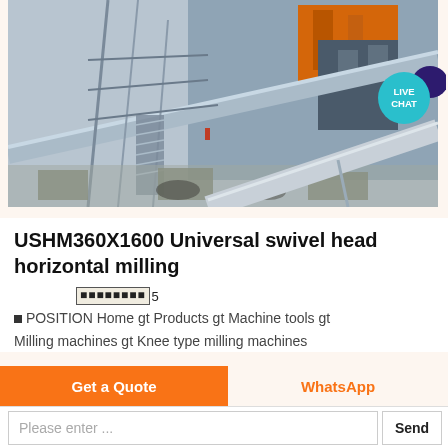[Figure (photo): Industrial machinery facility with conveyor belts, metal framework, pipes, and multi-story concrete structure with orange equipment visible in background. A 'LIVE CHAT' teal bubble with purple chat icon overlays the top-right corner.]
USHM360X1600 Universal swivel head horizontal milling
★★★★★5
POSITION Home gt Products gt Machine tools gt Milling machines gt Knee type milling machines
Get a Quote
WhatsApp
Please enter ...
Send